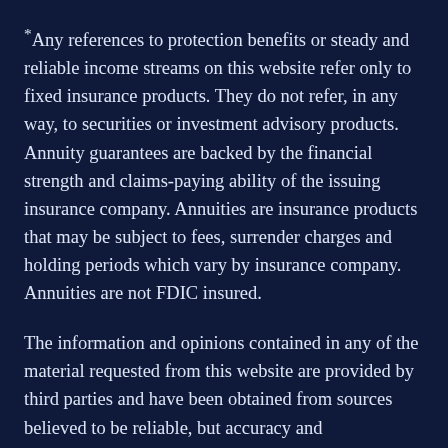*Any references to protection benefits or steady and reliable income streams on this website refer only to fixed insurance products. They do not refer, in any way, to securities or investment advisory products. Annuity guarantees are backed by the financial strength and claims-paying ability of the issuing insurance company. Annuities are insurance products that may be subject to fees, surrender charges and holding periods which vary by insurance company. Annuities are not FDIC insured.
The information and opinions contained in any of the material requested from this website are provided by third parties and have been obtained from sources believed to be reliable, but accuracy and completeness cannot be guaranteed. They are given for informational purposes only and are not a solicitation to buy or sell any of the products mentioned. The information is not intended to be used as the sole basis for financial decisions, nor should it be construed as advice designed to meet the